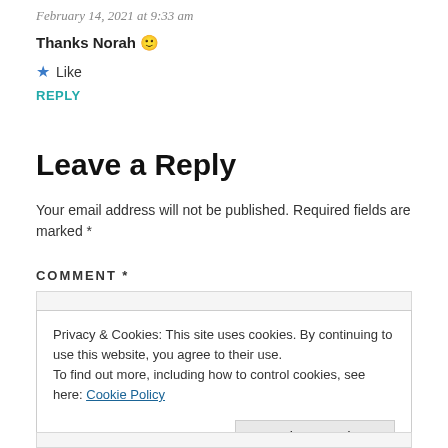February 14, 2021 at 9:33 am
Thanks Norah 🙂
★ Like
REPLY
Leave a Reply
Your email address will not be published. Required fields are marked *
COMMENT *
Privacy & Cookies: This site uses cookies. By continuing to use this website, you agree to their use. To find out more, including how to control cookies, see here: Cookie Policy
Close and accept